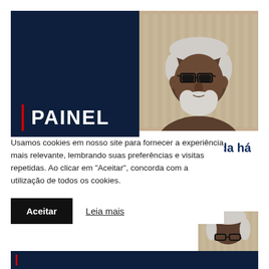[Figure (photo): Banner with dark navy left panel containing PAINEL heading with red vertical bar, and right side showing a portrait photo of an elderly Black man with white hair, white beard, and black glasses on a beige/tan striped background.]
PAINEL
Usamos cookies em nosso site para fornecer a experiência mais relevante, lembrando suas preferências e visitas repetidas. Ao clicar em "Aceitar", concorda com a utilização de todos os cookies.
Aceitar   Leia mais
inda há
[Figure (photo): Partial photo showing the top of the head of the same elderly Black man with white hair and glasses.]